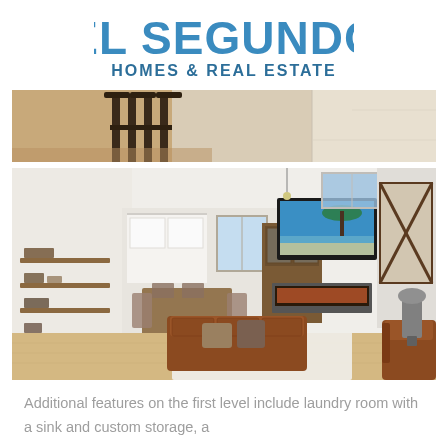[Figure (logo): El Segundo Homes & Real Estate logo with blue bold text]
[Figure (photo): Top strip photo showing bar stools and wood flooring]
[Figure (photo): Large interior living room photo showing open floor plan with leather sofas, fireplace, wall-mounted TV, built-in shelving, dining area, high ceilings and hardwood floors]
Additional features on the first level include laundry room with a sink and custom storage, a